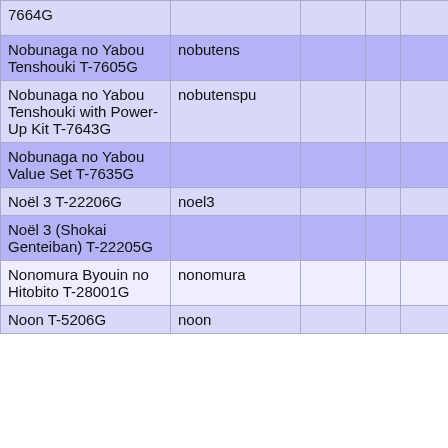| 7664G |  |  |  |  |
| Nobunaga no Yabou Tenshouki T-7605G | nobutens |  |  |  |
| Nobunaga no Yabou Tenshouki with Power-Up Kit T-7643G | nobutenspu |  |  |  |
| Nobunaga no Yabou Value Set T-7635G |  |  |  |  |
| Noël 3 T-22206G | noel3 |  |  |  |
| Noël 3 (Shokai Genteiban) T-22205G |  |  |  |  |
| Nonomura Byouin no Hitobito T-28001G | nonomura |  |  |  |
| Noon T-5206G | noon |  |  |  |